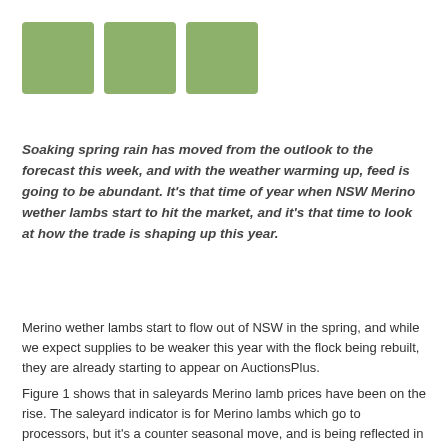[Figure (illustration): Three green squares arranged horizontally as a logo or decorative header element]
Soaking spring rain has moved from the outlook to the forecast this week, and with the weather warming up, feed is going to be abundant. It's that time of year when NSW Merino wether lambs start to hit the market, and it's that time to look at how the trade is shaping up this year.
Merino wether lambs start to flow out of NSW in the spring, and while we expect supplies to be weaker this year with the flock being rebuilt, they are already starting to appear on AuctionsPlus.
Figure 1 shows that in saleyards Merino lamb prices have been on the rise. The saleyard indicator is for Merino lambs which go to processors, but it's a counter seasonal move, and is being reflected in